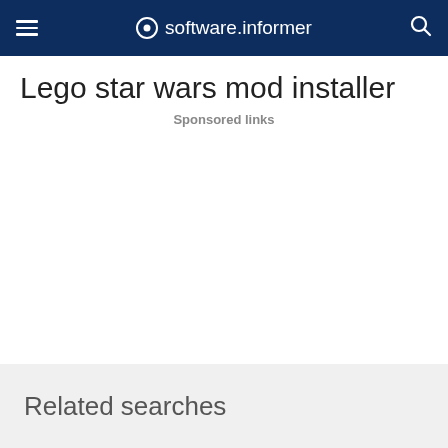software.informer
Lego star wars mod installer
Sponsored links
Related searches